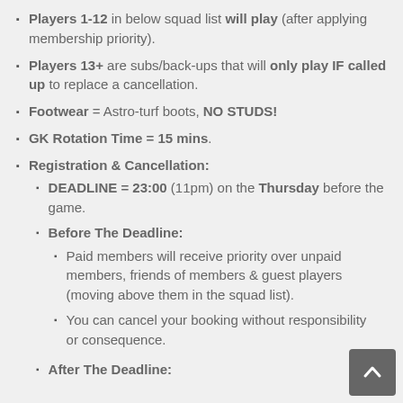Players 1-12 in below squad list will play (after applying membership priority).
Players 13+ are subs/back-ups that will only play IF called up to replace a cancellation.
Footwear = Astro-turf boots, NO STUDS!
GK Rotation Time = 15 mins.
Registration & Cancellation:
DEADLINE = 23:00 (11pm) on the Thursday before the game.
Before The Deadline:
Paid members will receive priority over unpaid members, friends of members & guest players (moving above them in the squad list).
You can cancel your booking without responsibility or consequence.
After The Deadline: